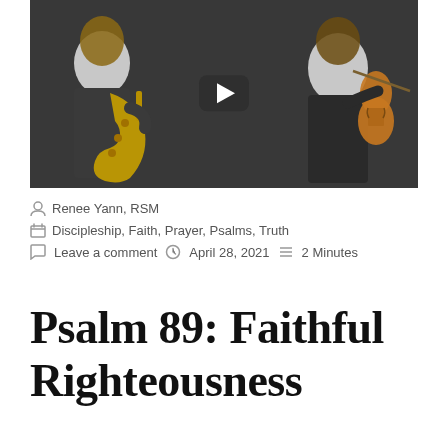[Figure (screenshot): YouTube video thumbnail showing two musicians on a dark background. Left: a man in a dark suit playing a saxophone. Right: a woman in a black dress playing a violin. A YouTube play button is centered in the middle. The video title bar at the top reads 'The Prayer | BoquityaDion ft Am...' with a YouTube logo icon.]
Renee Yann, RSM
Discipleship, Faith, Prayer, Psalms, Truth
Leave a comment   April 28, 2021   2 Minutes
Psalm 89: Faithful Righteousness